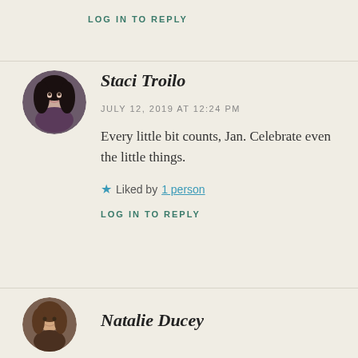LOG IN TO REPLY
[Figure (photo): Circular avatar photo of Staci Troilo, a woman with dark curly hair]
Staci Troilo
JULY 12, 2019 AT 12:24 PM
Every little bit counts, Jan. Celebrate even the little things.
★ Liked by 1 person
LOG IN TO REPLY
[Figure (photo): Circular avatar photo of Natalie Ducey, a woman with brown hair, smiling]
Natalie Ducey